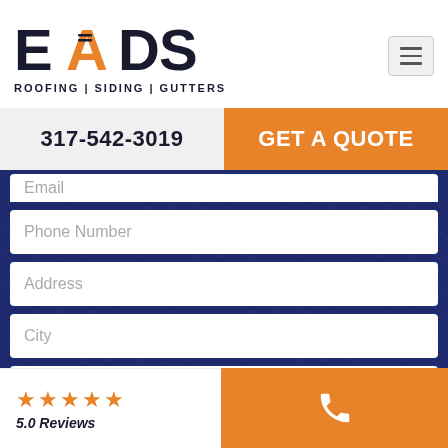[Figure (logo): EADS Roofing | Siding | Gutters company logo with orange A letter and roof graphic]
317-542-3019
GET A QUOTE
Email
Phone Number
Address
City
Zip
★★★★★ 5.0 Reviews